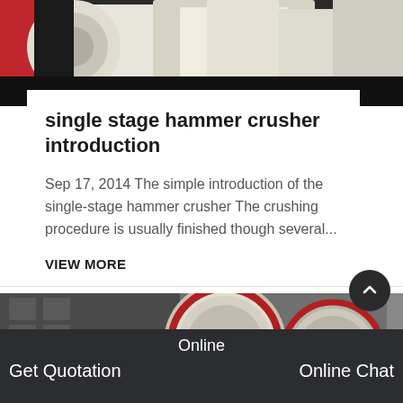[Figure (photo): Close-up photo of industrial crusher machinery with red and white metal components on a dark background]
single stage hammer crusher introduction
Sep 17, 2014 The simple introduction of the single-stage hammer crusher The crushing procedure is usually finished though several...
VIEW MORE
[Figure (photo): Industrial crusher machinery showing large circular flywheel components with red and beige coloring inside a factory setting]
Online   Get Quotation   Online Chat